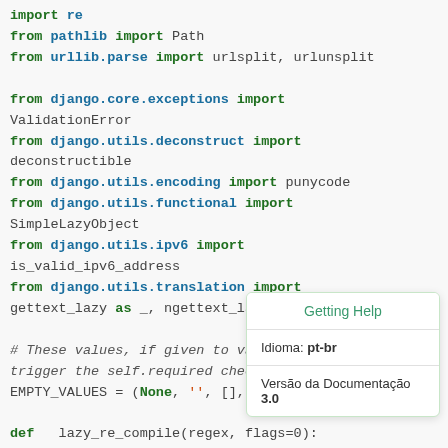import re
from pathlib import Path
from urllib.parse import urlsplit, urlunsplit

from django.core.exceptions import
ValidationError
from django.utils.deconstruct import
deconstructible
from django.utils.encoding import punycode
from django.utils.functional import
SimpleLazyObject
from django.utils.ipv6 import
is_valid_ipv6_address
from django.utils.translation import
gettext_lazy as _, ngettext_lazy

# These values, if given to validate(), will
# trigger the self.required check.
EMPTY_VALUES = (None, '', [], (), {})

def lazy_re_compile(regex, flags=0):
Getting Help
Idioma: pt-br
Versão da Documentação 3.0